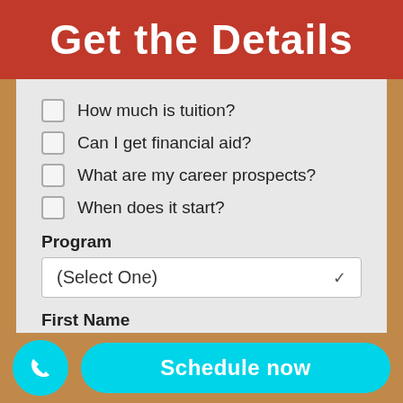Get the Details
How much is tuition?
Can I get financial aid?
What are my career prospects?
When does it start?
Program
(Select One)
First Name
Last Name
Schedule now